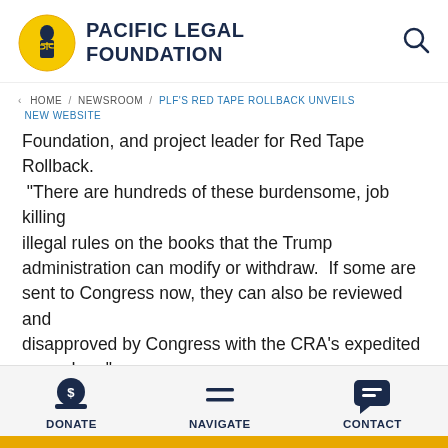[Figure (logo): Pacific Legal Foundation logo: circular yellow badge with figure of justice, next to bold text 'PACIFIC LEGAL FOUNDATION']
HOME / NEWSROOM / PLF'S RED TAPE ROLLBACK UNVEILS NEW WEBSITE
Foundation, and project leader for Red Tape Rollback. "There are hundreds of these burdensome, job killing illegal rules on the books that the Trump administration can modify or withdraw.  If some are sent to Congress now, they can also be reviewed and disapproved by Congress with the CRA's expedited procedure."
In recent weeks, many have said that the window to use the CRA to undo regulations has closed
DONATE   NAVIGATE   CONTACT